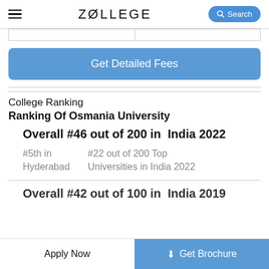ZOLLEGE | Search
|  |  |
| --- | --- |
|  |  |
Get Detailed Fees
College Ranking
Ranking Of Osmania University
Overall #46 out of 200 in India 2022
#5th in Hyderabad
#22 out of 200 Top Universities in India 2022
Overall #42 out of 100 in India 2019
Apply Now
Get Brochure